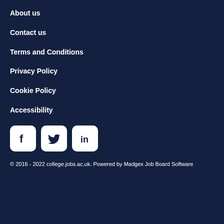About us
Contact us
Terms and Conditions
Privacy Policy
Cookie Policy
Accessibility
[Figure (illustration): Social media icons for Facebook, Twitter, and LinkedIn, displayed as white rounded square buttons on dark navy background.]
© 2016 - 2022 college.jobs.ac.uk. Powered by Madgex Job Board Software